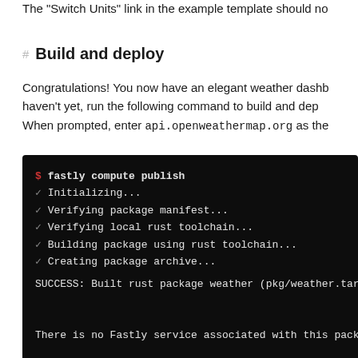The "Switch Units" link in the example template should no
# Build and deploy
Congratulations! You now have an elegant weather dashb haven't yet, run the following command to build and dep When prompted, enter api.openweathermap.org as the
[Figure (screenshot): Terminal/command-line output showing 'fastly compute publish' command with checkmarks for Initializing, Verifying package manifest, Verifying local rust toolchain, Building package using rust toolchain, Creating package archive, then SUCCESS message and a message about no Fastly service associated with the package.]